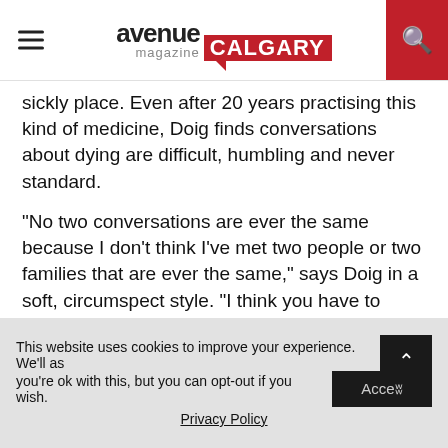avenue magazine CALGARY
sickly place. Even after 20 years practising this kind of medicine, Doig finds conversations about dying are difficult, humbling and never standard.
“No two conversations are ever the same because I don’t think I’ve met two people or two families that are ever the same,” says Doig in a soft, circumspect style. “I think you have to approach this with a fair amount of humility.
“I do talk about ‘dying.’ I don’t talk about ‘passing on’ or ‘moving on’ or use euphemisms. Sometimes people [talk of] ‘life support.’ I hope life is more than just the
This website uses cookies to improve your experience. We’ll as you’re ok with this, but you can opt-out if you wish.
Privacy Policy